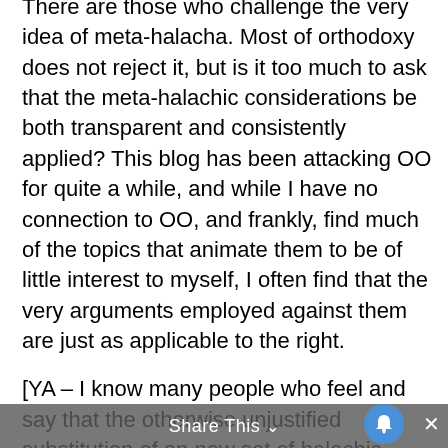There are those who challenge the very idea of meta-halacha. Most of orthodoxy does not reject it, but is it too much to ask that the meta-halachic considerations be both transparent and consistently applied? This blog has been attacking OO for quite a while, and while I have no connection to OO, and frankly, find much of the topics that animate them to be of little interest to myself, I often find that the very arguments employed against them are just as applicable to the right.
[YA – I know many people who feel and say that the otherwise unjustified substitution of an new set of halachic standards (e.g. deciding to be insist on being machmir like the Rambam, no matter whom he opposes) is an equivalent threat to the mesorah). We can
Share This